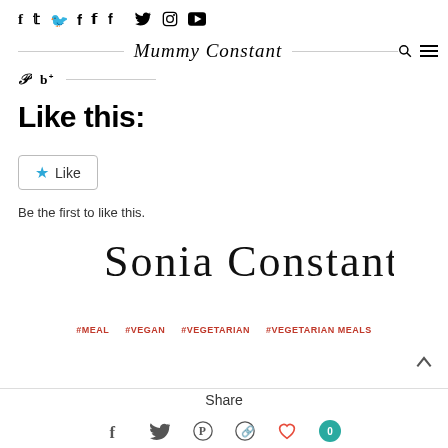Mummy Constant
Like this:
Like
Be the first to like this.
[Figure (illustration): Sonia Constant handwritten signature]
#MEAL   #VEGAN   #VEGETARIAN   #VEGETARIAN MEALS
Share